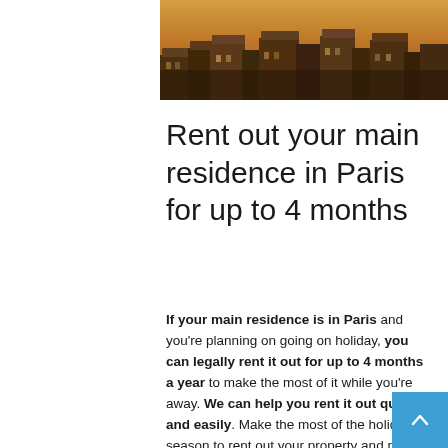[Figure (photo): Aerial/overhead photo of Paris Haussmann-style buildings and rooftops, warm golden tones]
Rent out your main residence in Paris for up to 4 months
If your main residence is in Paris and you're planning on going on holiday, you can legally rent it out for up to 4 months a year to make the most of it while you're away. We can help you rent it out quickly and easily. Make the most of the holiday season to rent out your property and put it to work while